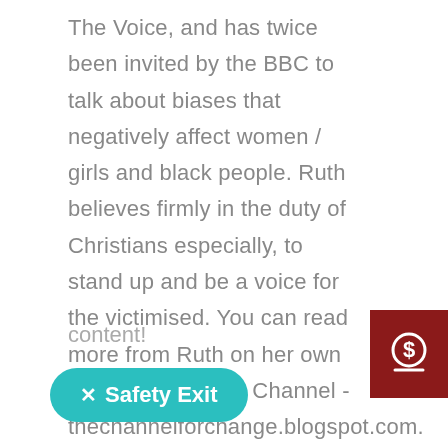The Voice, and has twice been invited by the BBC to talk about biases that negatively affect women / girls and black people. Ruth believes firmly in the duty of Christians especially, to stand up and be a voice for the victimised. You can read more from Ruth on her own blog, The Change Channel - thechannelforchange.blogspot.com. When NOT getting angry about injustice, Ruth can be found laughing to the point of tears, singing at every possible moment, and dancing to her heart's content!
[Figure (other): Dark red/maroon square icon with a white dollar sign and a horizontal line beneath it, resembling a donation or payment symbol]
content!
✕ Safety Exit